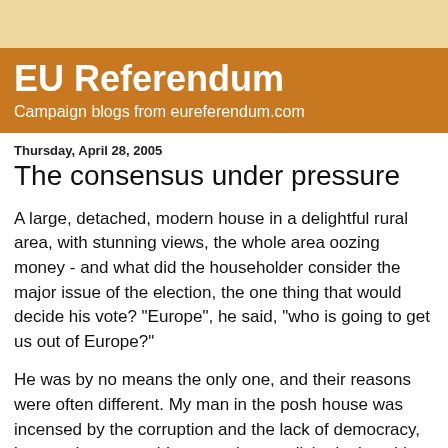EU Referendum
Campaign blogs from eureferendum.com
Thursday, April 28, 2005
The consensus under pressure
A large, detached, modern house in a delightful rural area, with stunning views, the whole area oozing money - and what did the householder consider the major issue of the election, the one thing that would decide his vote? "Europe", he said, "who is going to get us out of Europe?"
He was by no means the only one, and their reasons were often different. My man in the posh house was incensed by the corruption and the lack of democracy, but another man told me – quite unsolicited – how his son and his friends has been stopped from trail-bike riding on the land of a friendly farmer as the new CAP regulations prohibited farmers from